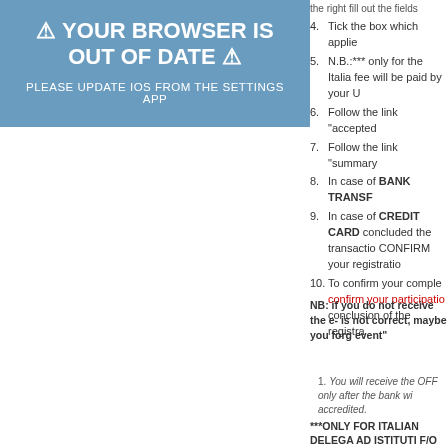[Figure (other): Browser out of date warning banner in blue]
the right fill out the fields
4. Tick the box which applie
5. N.B.:*** only for the Italia fee will be paid by your Ul
6. Follow the link "accepted
7. Follow the link "summary
8. In case of BANK TRANSF
9. In case of CREDIT CARD concluded the transactio CONFIRM your registratio
10. To confirm your comple confirm your participatio conclusion of the registra
NB: if you do not receive the e- is not correct, maybe you forg event"
1. You will receive the OFF only after the bank wi accredited.
***ONLY FOR ITALIAN DELEGA AD ISTITUTI F/O UNIVERSIT